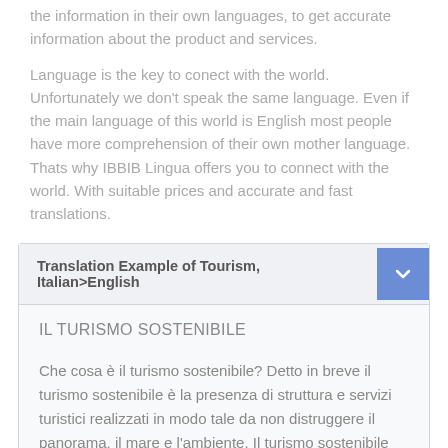the information in their own languages, to get accurate information about the product and services.
Language is the key to conect with the world. Unfortunately we don't speak the same language. Even if the main language of this world is English most people have more comprehension of their own mother language. Thats why IBBIB Lingua offers you to connect with the world. With suitable prices and accurate and fast translations.
Translation Example of Tourism, Italian>English
IL TURISMO SOSTENIBILE
Che cosa è il turismo sostenibile? Detto in breve il turismo sostenibile è la presenza di struttura e servizi turistici realizzati in modo tale da non distruggere il panorama, il mare e l'ambiente. Il turismo sostenibile privilegia l'alloggio dei villeggianti nell'entroterra (almeno due chilometri dal mare) lasciando intatta la